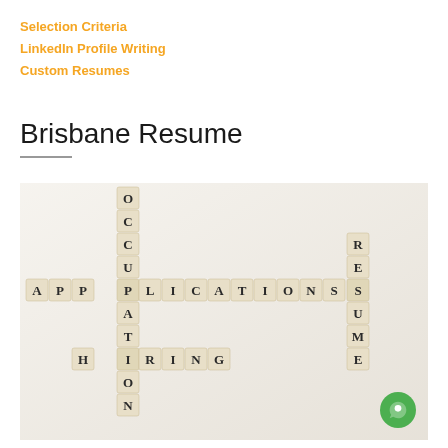Selection Criteria
LinkedIn Profile Writing
Custom Resumes
Brisbane Resume
[Figure (photo): Scrabble tiles arranged in a crossword pattern spelling out OCCUPATION, APPLICATIONS, HIRING, and RESUME on a white surface]